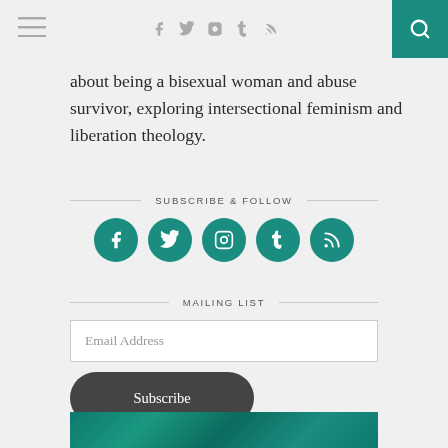Navigation bar with hamburger menu, social icons (facebook, twitter, instagram, tumblr, rss), and search button
about being a bisexual woman and abuse survivor, exploring intersectional feminism and liberation theology.
SUBSCRIBE & FOLLOW
[Figure (infographic): Five teal circular social media icon buttons: Facebook, Twitter, Instagram, Tumblr, RSS]
MAILING LIST
Email Address
Subscribe
[Figure (photo): Teal/green textured image strip at the bottom of the page]